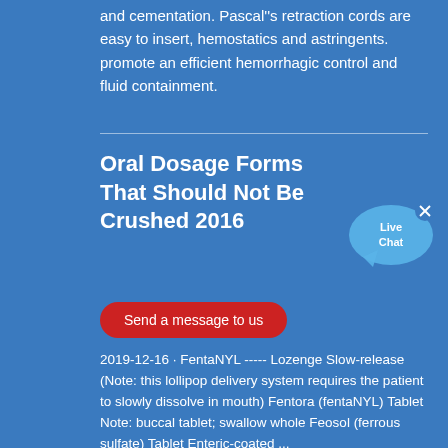and cementation. Pascal's retraction cords are easy to insert, hemostatics and astringents. promote an efficient hemorrhagic control and fluid containment.
Oral Dosage Forms That Should Not Be Crushed 2016
[Figure (other): Live Chat button with speech bubble icon and close (x) button]
Send a message to us
2019-12-16 · FentaNYL ----- Lozenge Slow-release (Note: this lollipop delivery system requires the patient to slowly dissolve in mouth) Fentora (fentaNYL) Tablet Note: buccal tablet; swallow whole Feosol (ferrous sulfate) Tablet Enteric-coated ...
Aluminium production process